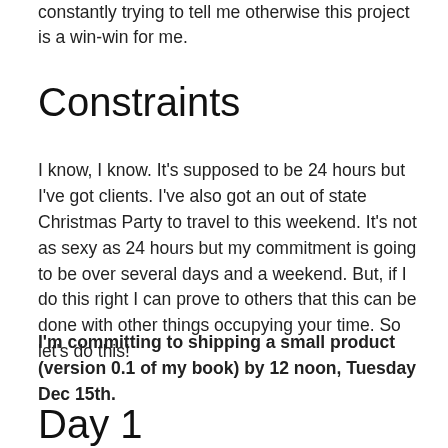constantly trying to tell me otherwise this project is a win-win for me.
Constraints
I know, I know. It's supposed to be 24 hours but I've got clients. I've also got an out of state Christmas Party to travel to this weekend. It's not as sexy as 24 hours but my commitment is going to be over several days and a weekend. But, if I do this right I can prove to others that this can be done with other things occupying your time. So let's do this!
I'm committing to shipping a small product (version 0.1 of my book) by 12 noon, Tuesday Dec 15th.
Day 1